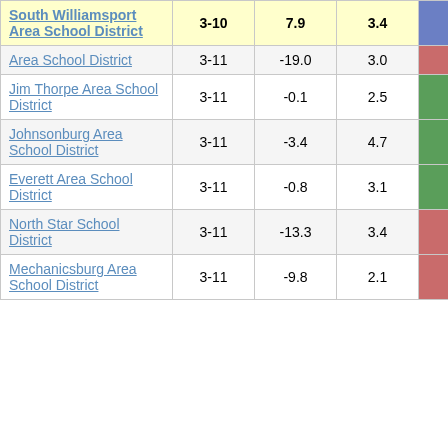| School District | Grades | Col3 | Col4 | Col5 | Col6 |
| --- | --- | --- | --- | --- | --- |
| South Williamsport Area School District | 3-10 | 7.9 | 3.4 | 2.35 | 2 |
| Area School District | 3-11 | -19.0 | 3.0 | -6.27 |  |
| Jim Thorpe Area School District | 3-11 | -0.1 | 2.5 | -0.02 |  |
| Johnsonburg Area School District | 3-11 | -3.4 | 4.7 | -0.72 |  |
| Everett Area School District | 3-11 | -0.8 | 3.1 | -0.24 |  |
| North Star School District | 3-11 | -13.3 | 3.4 | -3.93 |  |
| Mechanicsburg Area School District | 3-11 | -9.8 | 2.1 | -4.78 |  |